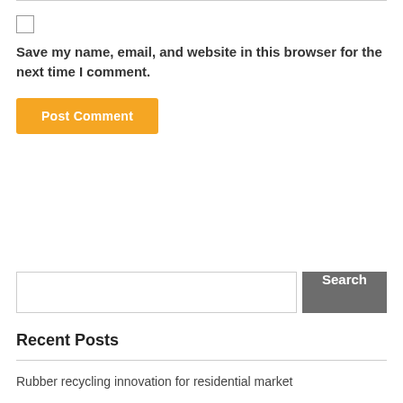Save my name, email, and website in this browser for the next time I comment.
Post Comment
Search
Recent Posts
Rubber recycling innovation for residential market